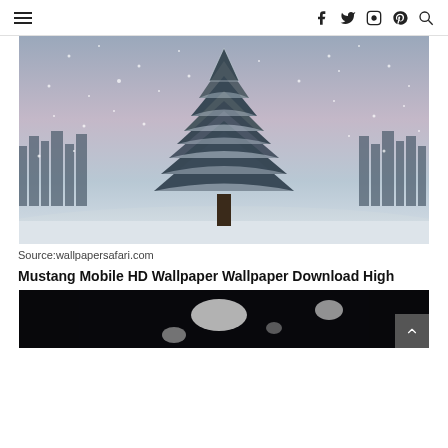Navigation bar with hamburger menu and social icons (f, twitter, instagram, pinterest, search)
[Figure (photo): A snow-covered evergreen tree standing alone in a snowy field during a snowstorm, with a dense forest of snow-laden trees in the background and a purple-pink dusk sky.]
Source:wallpapersafari.com
Mustang Mobile HD Wallpaper Wallpaper Download High
[Figure (photo): Dark nighttime image, partially visible, showing blurry lights against a dark background — bottom of the page, cropped.]